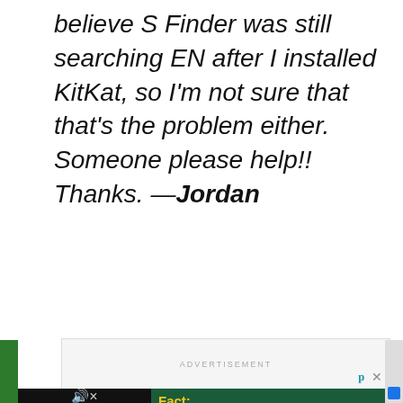believe S Finder was still searching EN after I installed KitKat, so I'm not sure that that's the problem either. Someone please help!! Thanks. —Jordan
[Figure (screenshot): Advertisement placeholder box with 'ADVERTISEMENT' label, close (x) and privacy (p) icons at bottom right]
[Figure (screenshot): Bottom ad banner: left side shows video player with mute icon on black background; right side shows Virginia Housing ad with 'Fact: You don't need a perfect credit score to buy a home.' and 'Swipe up to expand' with Virginia Housing logo]